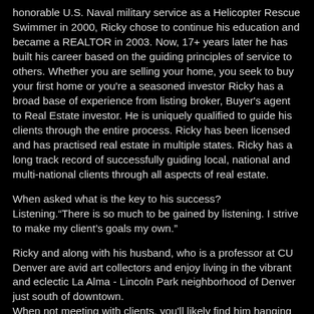honorable U.S. Naval military service as a Helicopter Rescue Swimmer in 2000, Ricky chose to continue his education and became a REALTOR in 2003. Now, 17+ years later he has built his career based on the guiding principles of service to others. Whether you are selling your home, you seek to buy your first home or you're a seasoned investor Ricky has a broad base of experience from listing broker, Buyer's agent to Real Estate investor. He is uniquely qualified to guide his clients through the entire process. Ricky has been licensed and has practised real estate in multiple states. Ricky has a long track record of successfully guiding local, national and multi-national clients through all aspects of real estate.
When asked what is the key to his success? Listening."There is so much to be gained by listening. I strive to make my client's goals my own."
Ricky and along with his husband, who is a professor at CU Denver are avid art collectors and enjoy living in the vibrant and eclectic La Alma - Lincoln Park neighborhood of Denver just south of downtown.
When not meeting with clients, you'll likely find him hanging out along S. Broadway at one his favorite local